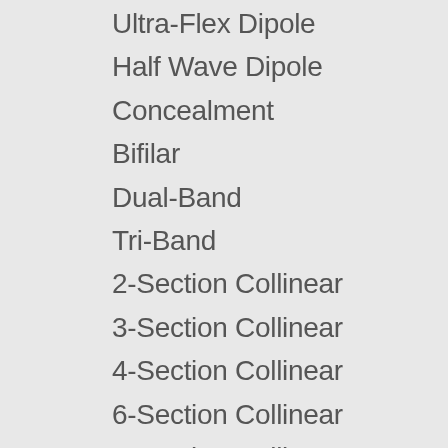Ultra-Flex Dipole
Half Wave Dipole
Concealment
Bifilar
Dual-Band
Tri-Band
2-Section Collinear
3-Section Collinear
4-Section Collinear
6-Section Collinear
8-Section Collinear
10-Section Collinear
Full Wave Dipole
Conical Helical
Cellular Band
Flange Mount Base